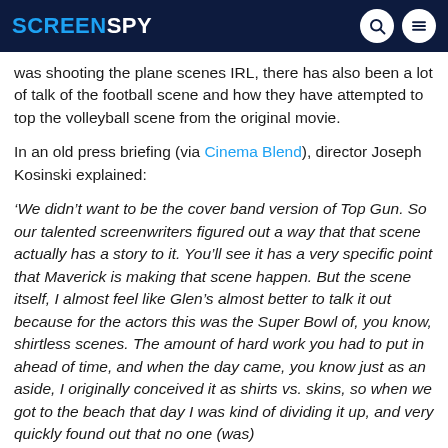SCREENSPY
was shooting the plane scenes IRL, there has also been a lot of talk of the football scene and how they have attempted to top the volleyball scene from the original movie.
In an old press briefing (via Cinema Blend), director Joseph Kosinski explained:
‘We didn’t want to be the cover band version of Top Gun. So our talented screenwriters figured out a way that that scene actually has a story to it. You’ll see it has a very specific point that Maverick is making that scene happen. But the scene itself, I almost feel like Glen’s almost better to talk it out because for the actors this was the Super Bowl of, you know, shirtless scenes. The amount of hard work you had to put in ahead of time, and when the day came, you know just as an aside, I originally conceived it as shirts vs. skins, so when we got to the beach that day I was kind of dividing it up, and very quickly found out that no one (was)